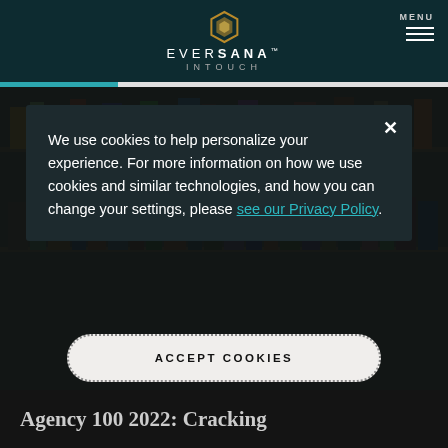EVERSANA INTOUCH
[Figure (screenshot): EVERSANA INTOUCH website screenshot showing cookie consent dialog over a dark background with blurred bookshelf image. Header shows logo with hexagonal gold icon, EVERSANA INTOUCH text, and MENU button. Teal progress bar below header. Cookie modal reads: We use cookies to help personalize your experience. For more information on how we use cookies and similar technologies, and how you can change your settings, please see our Privacy Policy. ACCEPT COOKIES button below modal. Partial page title at bottom: Agency 100 2022: Cracking]
We use cookies to help personalize your experience. For more information on how we use cookies and similar technologies, and how you can change your settings, please see our Privacy Policy.
ACCEPT COOKIES
Agency 100 2022: Cracking